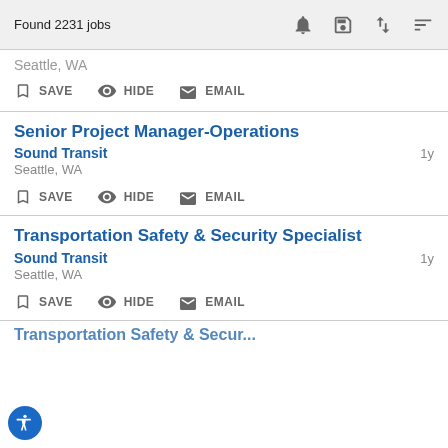Found 2231 jobs
Seattle, WA
SAVE  HIDE  EMAIL
Senior Project Manager-Operations
Sound Transit  1y
Seattle, WA
SAVE  HIDE  EMAIL
Transportation Safety & Security Specialist
Sound Transit  1y
Seattle, WA
SAVE  HIDE  EMAIL